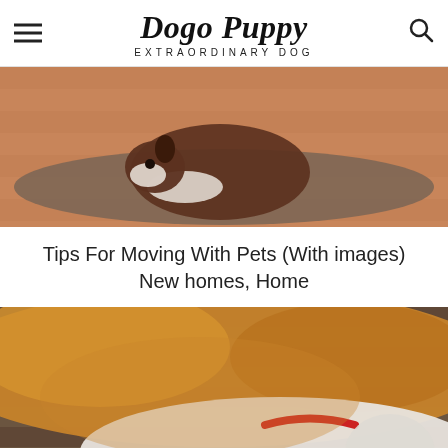Dogo Puppy — EXTRAORDINARY DOG
[Figure (photo): A brown and white Husky dog curled up sleeping on a brown mat on a wooden floor]
Tips For Moving With Pets (With images) New homes, Home
[Figure (photo): Close-up of an orange/golden dog and a white cat with a red collar lying together]